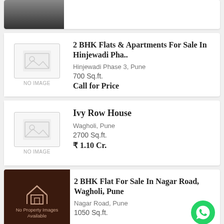[Figure (photo): Top of page: partial photo of a property, dark image]
2 BHK Flats & Apartments For Sale In Hinjewadi Pha..
Hinjewadi Phase 3, Pune
700 Sq.ft.
Call for Price
Ivy Row House
Wagholi, Pune
2700 Sq.ft.
₹ 1.10 Cr.
2 BHK Flat For Sale In Nagar Road, Wagholi, Pune
Nagar Road, Pune
1050 Sq.ft.